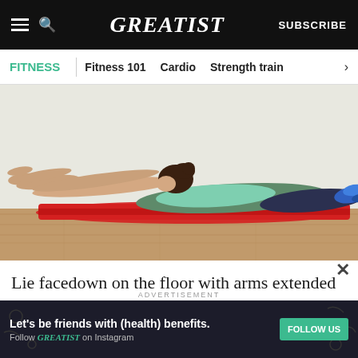GREATIST | SUBSCRIBE
FITNESS | Fitness 101 | Cardio | Strength train >
[Figure (photo): Woman lying face down on a red exercise mat on a wooden floor, arms extended forward with palms facing down, legs extended behind her, performing a superman/back extension exercise. She is wearing a teal tank top, dark patterned leggings, and blue sneakers.]
Lie facedown on the floor with arms extended in front of body, palms facing down. Draw navel in
ADVERTISEMENT
Let's be friends with (health) benefits. Follow GREATIST on Instagram FOLLOW US